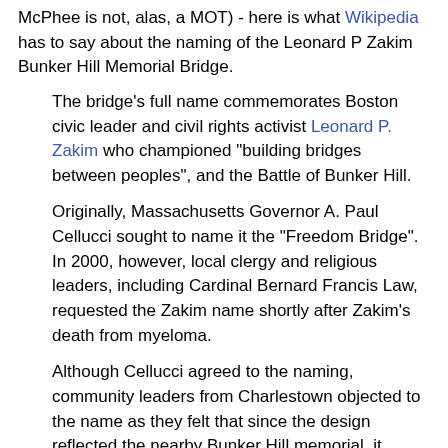McPhee is not, alas, a MOT) - here is what Wikipedia has to say about the naming of the Leonard P Zakim Bunker Hill Memorial Bridge.
The bridge's full name commemorates Boston civic leader and civil rights activist Leonard P. Zakim who championed "building bridges between peoples", and the Battle of Bunker Hill.
Originally, Massachusetts Governor A. Paul Cellucci sought to name it the "Freedom Bridge". In 2000, however, local clergy and religious leaders, including Cardinal Bernard Francis Law, requested the Zakim name shortly after Zakim's death from myeloma.
Although Cellucci agreed to the naming, community leaders from Charlestown objected to the name as they felt that since the design reflected the nearby Bunker Hill memorial, it should be named the "Bunker Hill Freedom bridge".